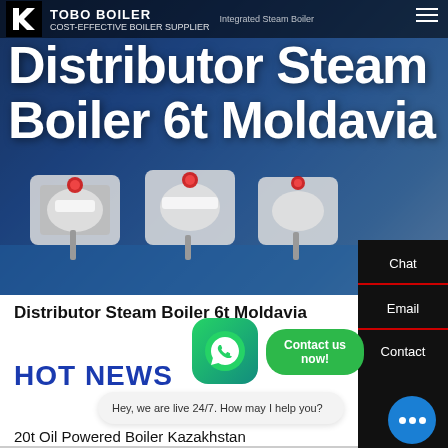[Figure (screenshot): Hero banner showing industrial steam boilers in blue industrial setting with Tobo Boiler branding and 'Distributor Steam Boiler 6t Moldavia' title overlay]
TOBO BOILER – COST-EFFECTIVE BOILER SUPPLIER – Integrated Steam Boiler
Distributor Steam Boiler 6t Moldavia
Distributor Steam Boiler 6t Moldavia
HOT NEWS
Contact us now!
Hey, we are live 24/7. How may I help you?
20t Oil Powered Boiler Kazakhstan